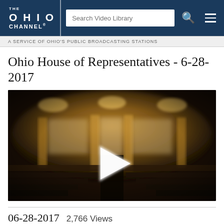THE OHIO CHANNEL — Search Video Library
A SERVICE OF OHIO'S PUBLIC BROADCASTING STATIONS
Ohio House of Representatives - 6-28-2017
[Figure (screenshot): Video thumbnail showing the Ohio House of Representatives chamber, blurred/out-of-focus, with a white play button triangle in the center. The chamber has wooden desks/seats and warm lighting.]
06-28-2017  2,766 Views